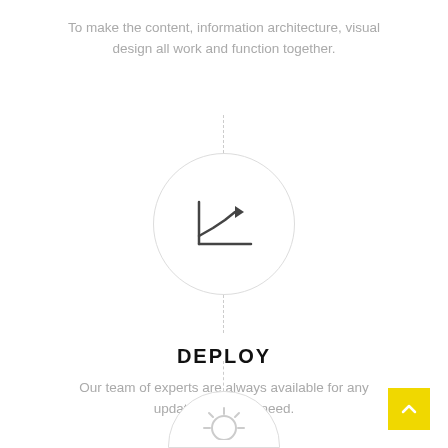To make the content, information architecture, visual design all work and function together.
[Figure (illustration): A circle icon containing an upward trending line chart icon, connected above and below by dashed vertical lines as part of a process timeline.]
DEPLOY
Our team of experts are always available for any updates you may need.
[Figure (illustration): Partial circle icon at bottom of page with a sun/gear icon, partially visible, connected by a dashed vertical line — the next step in the process timeline.]